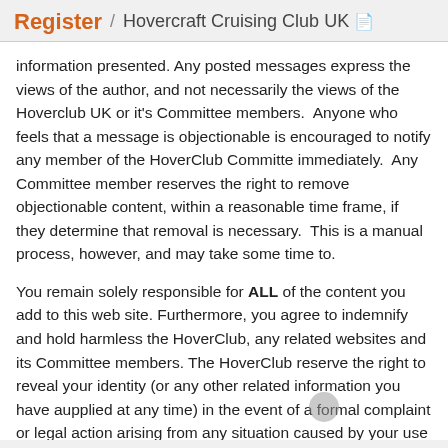Register / Hovercraft Cruising Club UK
information presented. Any posted messages express the views of the author, and not necessarily the views of the Hoverclub UK or it's Committee members.  Anyone who feels that a message is objectionable is encouraged to notify any member of the HoverClub Committe immediately.  Any Committee member reserves the right to remove objectionable content, within a reasonable time frame, if they determine that removal is necessary.  This is a manual process, however, and may take some time to.
You remain solely responsible for ALL of the content you add to this web site. Furthermore, you agree to indemnify and hold harmless the HoverClub, any related websites and its Committee members. The HoverClub reserve the right to reveal your identity (or any other related information you have aupplied at any time) in the event of a formal complaint or legal action arising from any situation caused by your use of this web site.